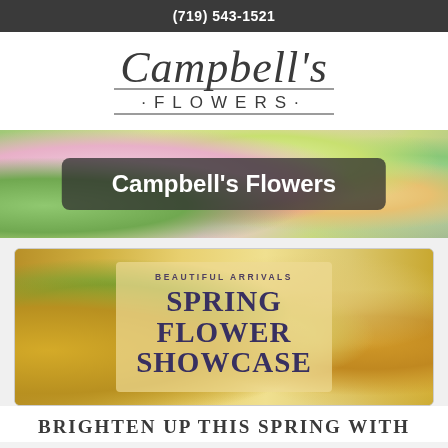(719) 543-1521
[Figure (logo): Campbell's Flowers logo with cursive 'Campbell's' above '·FLOWERS·' in spaced serif capitals, underlined]
[Figure (photo): Flower arrangement banner photo with colorful spring flowers (pink roses, green stems, purple), overlaid with dark semi-transparent rounded rectangle containing text 'Campbell's Flowers' in white bold]
[Figure (photo): Spring flower showcase card with yellow and green floral background, semi-transparent overlay with text: 'BEAUTIFUL ARRIVALS' small caps above large serif text 'SPRING FLOWER SHOWCASE']
BRIGHTEN UP THIS SPRING WITH